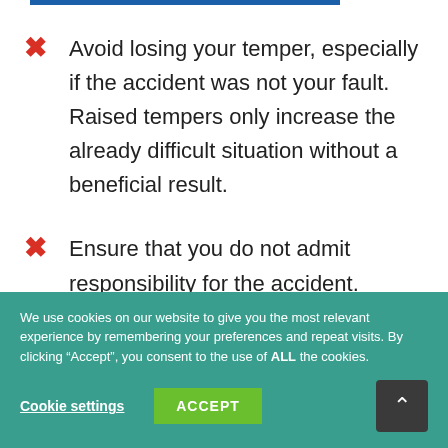Avoid losing your temper, especially if the accident was not your fault. Raised tempers only increase the already difficult situation without a beneficial result.
Ensure that you do not admit responsibility for the accident.
We use cookies on our website to give you the most relevant experience by remembering your preferences and repeat visits. By clicking “Accept”, you consent to the use of ALL the cookies.